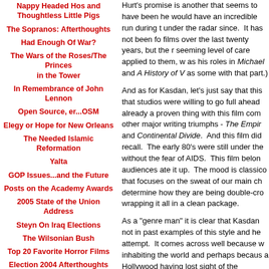Nappy Headed Hos and Thoughtless Little Pigs
The Sopranos: Afterthoughts
Had Enough Of War?
The Wars of the Roses/The Princes in the Tower
In Remembrance of John Lennon
Open Source, er...OSM
Elegy or Hope for New Orleans
The Needed Islamic Reformation
Yalta
GOP Issues...and the Future
Posts on the Academy Awards
2005 State of the Union Address
Steyn On Iraq Elections
The Wilsonian Bush
Top 20 Favorite Horror Films
Election 2004 Afterthoughts
Pete Rose and Hu$tle
Hurt's promise is another that seems to have been... he would have an incredible run during the... under the radar since. It has not been fo... films over the last twenty years, but the r... seeming level of care applied to them, w... as his roles in Michael and A History of V... as some with that part.)
And as for Kasdan, let's just say that this... that studios were willing to go full ahead... already a proven thing with this film com... other major writing triumphs - The Empir... and Continental Divide. And this film did... recall. The early 80's were still under the... without the fear of AIDS. This film belon... audiences ate it up. The mood is classico... that focuses on the sweat of our main ch... determine how they are being double-cro... wrapping it all in a clean package.
As a "genre man" it is clear that Kasdan... not in past examples of this style and he... attempt. It comes across well because w... inhabiting the world and perhaps becaus... a Hollywood having lost sight of the...